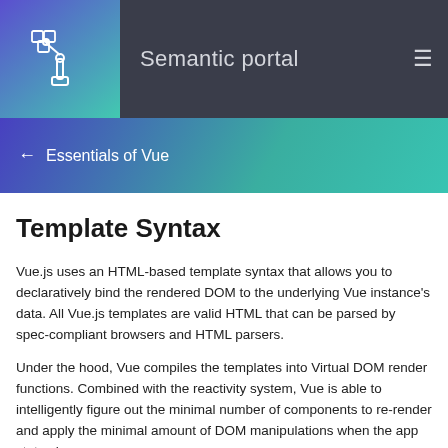Semantic portal
← Essentials of Vue
Template Syntax
Vue.js uses an HTML-based template syntax that allows you to declaratively bind the rendered DOM to the underlying Vue instance's data. All Vue.js templates are valid HTML that can be parsed by spec-compliant browsers and HTML parsers.
Under the hood, Vue compiles the templates into Virtual DOM render functions. Combined with the reactivity system, Vue is able to intelligently figure out the minimal number of components to re-render and apply the minimal amount of DOM manipulations when the app state changes.